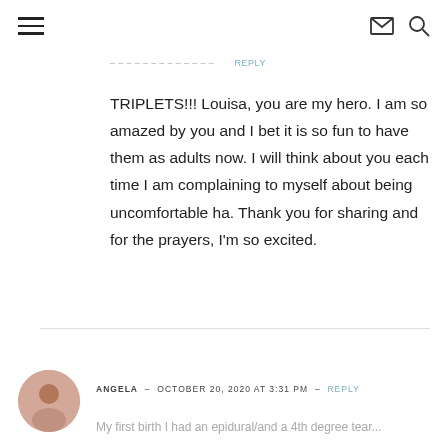navigation header with hamburger menu and icons
TRIPLETS!!! Louisa, you are my hero. I am so amazed by you and I bet it is so fun to have them as adults now. I will think about you each time I am complaining to myself about being uncomfortable ha. Thank you for sharing and for the prayers, I'm so excited.
ANGELA  -  OCTOBER 20, 2020 AT 3:31 PM  -  REPLY
My first birth I had an epidural/and a 4th degree tear...